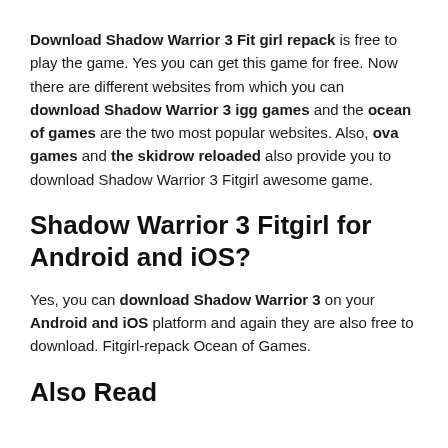Download Shadow Warrior 3 Fit girl repack is free to play the game. Yes you can get this game for free. Now there are different websites from which you can download Shadow Warrior 3 igg games and the ocean of games are the two most popular websites. Also, ova games and the skidrow reloaded also provide you to download Shadow Warrior 3 Fitgirl awesome game.
Shadow Warrior 3 Fitgirl for Android and iOS?
Yes, you can download Shadow Warrior 3 on your Android and iOS platform and again they are also free to download. Fitgirl-repack Ocean of Games.
Also Read